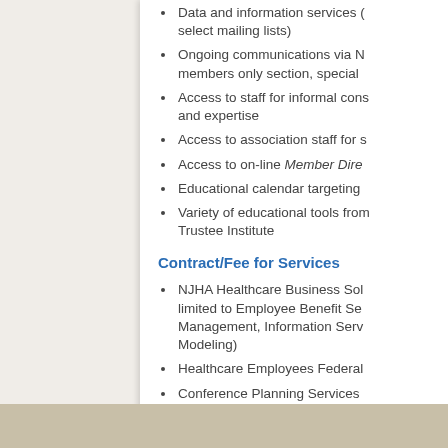Data and information services (select mailing lists)
Ongoing communications via N members only section, special
Access to staff for informal cons and expertise
Access to association staff for s
Access to on-line Member Dire
Educational calendar targeting
Variety of educational tools from Trustee Institute
Contract/Fee for Services
NJHA Healthcare Business Sol limited to Employee Benefit Se Management, Information Serv Modeling)
Healthcare Employees Federal
Conference Planning Services
Conference center meeting roo